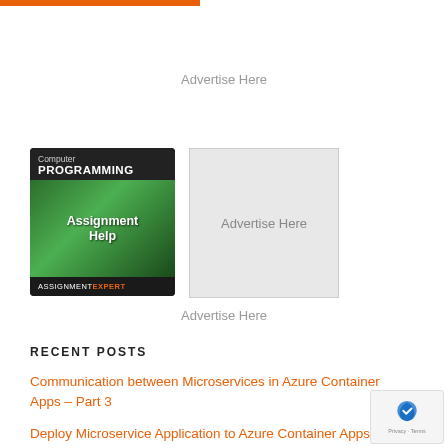[Figure (other): Orange horizontal bar at top of page]
Advertise Here
[Figure (illustration): Computer Programming Assignment Help - AssignmentExpert advertisement banner with dark background, green gradient, bold white text]
[Figure (other): Grey placeholder box with Advertise Here text]
Advertise Here
RECENT POSTS
Communication between Microservices in Azure Container Apps – Part 3
Deploy Microservice Application to Azure Container Apps
[Figure (other): reCAPTCHA badge with Privacy - Terms text]